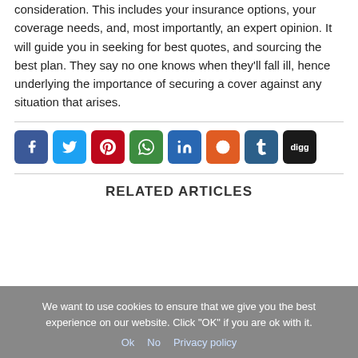consideration. This includes your insurance options, your coverage needs, and, most importantly, an expert opinion. It will guide you in seeking for best quotes, and sourcing the best plan. They say no one knows when they'll fall ill, hence underlying the importance of securing a cover against any situation that arises.
[Figure (other): Row of social media sharing buttons: Facebook (blue), Twitter (light blue), Pinterest (dark red), WhatsApp (green), LinkedIn (dark blue), Reddit (orange), Tumblr (slate blue), Digg (black)]
RELATED ARTICLES
We want to use cookies to ensure that we give you the best experience on our website. Click "OK" if you are ok with it.
Ok   No   Privacy policy